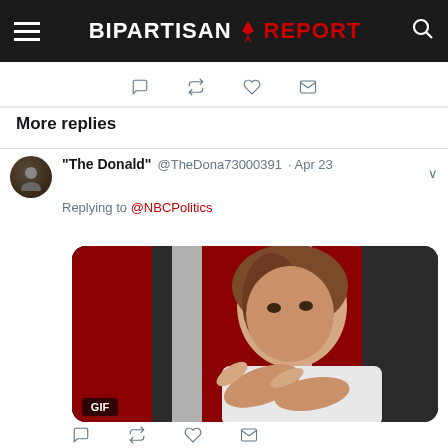BIPARTISAN REPORT
More replies
"The Donald" @TheDona73000391 · Apr 23
Replying to @NBCPolitics
[Figure (photo): GIF of a woman in a white jacket making pointing gestures in front of a red and white background, labeled GIF]
T-Covfefe @MyPlace4U · Apr 23